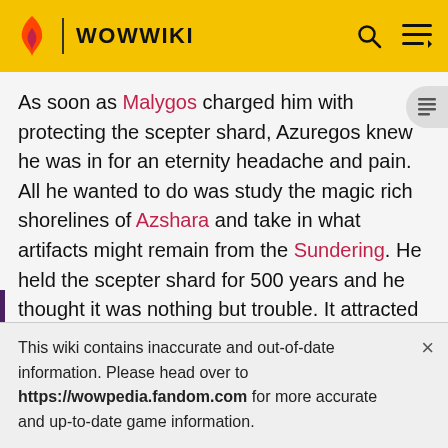WOWWIKI
As soon as Malygos charged him with protecting the scepter shard, Azuregos knew he was in for an eternity headache and pain. All he wanted to do was study the magic rich shorelines of Azshara and take in what artifacts might remain from the Sundering. He held the scepter shard for 500 years and he thought it was nothing but trouble. It attracted all kinds of attention. He wanted to be left alone to his studies, not babysit some would be hero's ticket to glory. So he gave it to a very special minnow, Maws. Any champion seeking to reunite
This wiki contains inaccurate and out-of-date information. Please head over to https://wowpedia.fandom.com for more accurate and up-to-date game information.